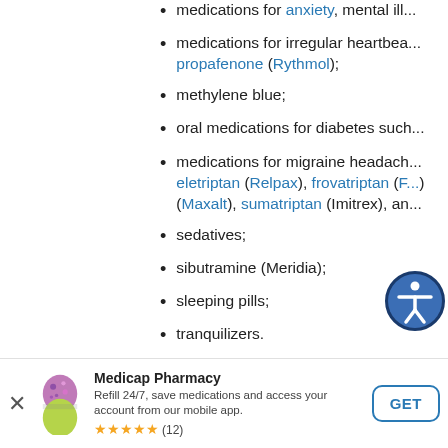medications for anxiety, mental ill...
medications for irregular heartbeat... propafenone (Rythmol);
methylene blue;
oral medications for diabetes such...
medications for migraine headache... eletriptan (Relpax), frovatriptan (F...) (Maxalt), sumatriptan (Imitrex), an...
[Figure (other): Accessibility icon — person in circle with dark blue border]
sedatives;
sibutramine (Meridia);
sleeping pills;
tranquilizers.
This is not a complete list of sertralin...
[Figure (other): Medicap Pharmacy app banner — pill capsule image, star rating (12 reviews), GET button]